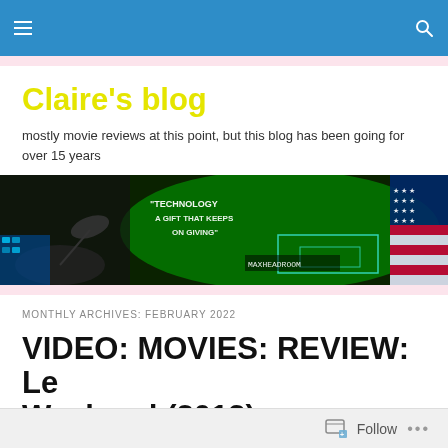Navigation bar with menu and search icons
Claire's blog
mostly movie reviews at this point, but this blog has been going for over 15 years
[Figure (photo): Banner image showing technology collage with satellite dish, green circuit board visuals, text reading 'TECHNOLOGY A GIFT THAT KEEPS ON GIVING', Max Headroom, Adult Swim logo, and US flag on the right]
MONTHLY ARCHIVES: FEBRUARY 2022
VIDEO: MOVIES: REVIEW: Le Weekend (2013)
Follow